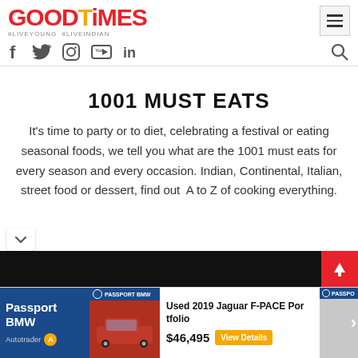GOODTiMES #LIVEYOUNG #LIVEINDIAN
1001 MUST EATS
It's time to party or to diet, celebrating a festival or eating seasonal foods, we tell you what are the 1001 must eats for every season and every occasion. Indian, Continental, Italian, street food or dessert, find out  A to Z of cooking everything.
[Figure (screenshot): Advertisement banner: black bar with red up-arrow button, and car advertisement for Used 2019 Jaguar F-PACE Portfolio at $46,495 from Passport BMW via Autotrader]